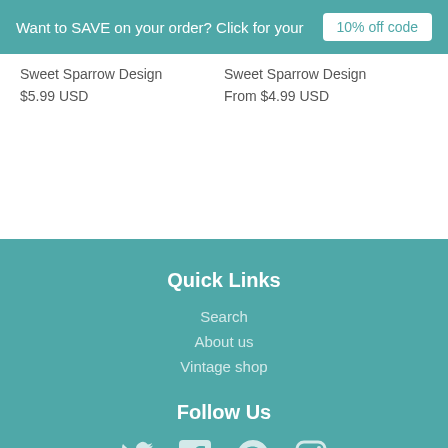Want to SAVE on your order? Click for your 10% off code
Sweet Sparrow Design
$5.99 USD
Sweet Sparrow Design
From $4.99 USD
Quick Links
Search
About us
Vintage shop
Follow Us
[Figure (other): Social media icons: Twitter, Facebook, Pinterest, Instagram]